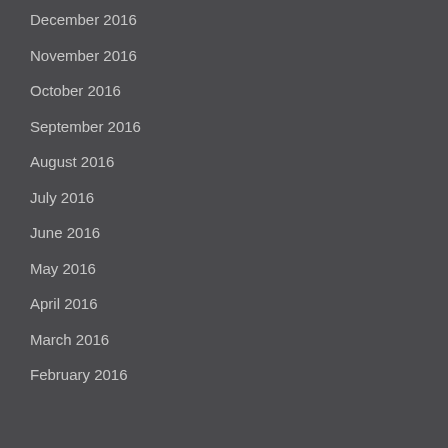December 2016
November 2016
October 2016
September 2016
August 2016
July 2016
June 2016
May 2016
April 2016
March 2016
February 2016